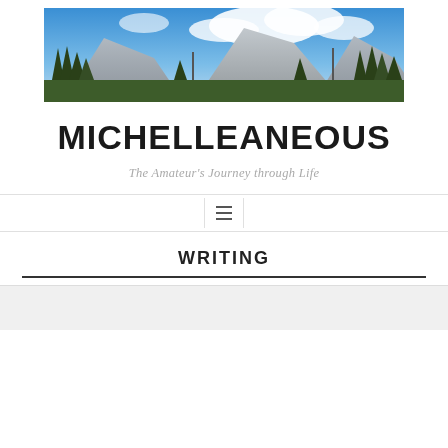[Figure (photo): Panoramic landscape photograph showing mountains, pine trees, granite rock faces, and blue sky with clouds — a scenic mountain vista.]
MICHELLEANEOUS
The Amateur's Journey through Life
[Figure (other): Navigation bar with hamburger menu icon (three horizontal lines) centered, bordered on left and right, with horizontal rules above and below.]
WRITING
Follow ...